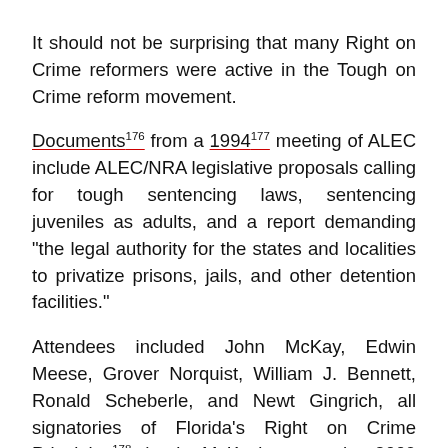It should not be surprising that many Right on Crime reformers were active in the Tough on Crime reform movement.
Documents[176] from a 1994[177] meeting of ALEC include ALEC/NRA legislative proposals calling for tough sentencing laws, sentencing juveniles as adults, and a report demanding "the legal authority for the states and localities to privatize prisons, jails, and other detention facilities."
Attendees included John McKay, Edwin Meese, Grover Norquist, William J. Bennett, Ronald Scheberle, and Newt Gingrich, all signatories of Florida's Right on Crime Principles[178] (or in McKay's case, the 2009 smart justice open letter[179]). Sponsors of the ALEC conference listed in the program include BI Incorporated and CCA